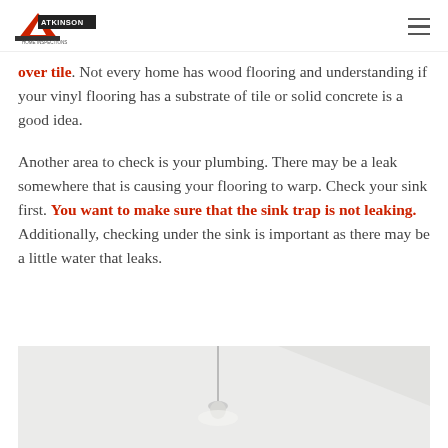Atkinson (logo)
over tile. Not every home has wood flooring and understanding if your vinyl flooring has a substrate of tile or solid concrete is a good idea.
Another area to check is your plumbing. There may be a leak somewhere that is causing your flooring to warp. Check your sink first. You want to make sure that the sink trap is not leaking. Additionally, checking under the sink is important as there may be a little water that leaks.
[Figure (photo): Interior ceiling photo with pendant light fixture, white walls and ceiling]